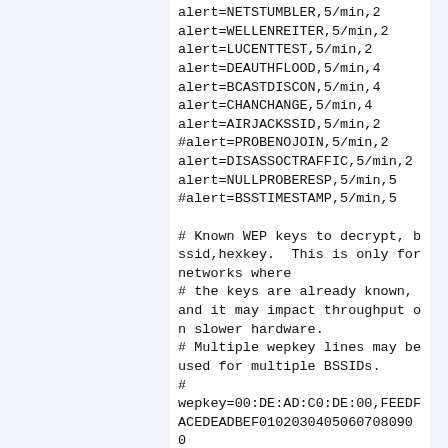alert=NETSTUMBLER,5/min,2
alert=WELLENREITER,5/min,2
alert=LUCENTTEST,5/min,2
alert=DEAUTHFLOOD,5/min,4
alert=BCASTDISCON,5/min,4
alert=CHANCHANGE,5/min,4
alert=AIRJACKSSID,5/min,2
#alert=PROBENOJOIN,5/min,2
alert=DISASSOCTRAFFIC,5/min,2
alert=NULLPROBERESP,5/min,5
#alert=BSSTIMESTAMP,5/min,5

# Known WEP keys to decrypt, bssid,hexkey.  This is only for networks where
# the keys are already known, and it may impact throughput on slower hardware.
# Multiple wepkey lines may be used for multiple BSSIDs.
#
wepkey=00:DE:AD:C0:DE:00,FEEDFACEDEADBEF0102030405060708090 0

# Is transmission of the keys to the client allowed?  This may be a security
# risk for some.  If you disable this, you will not be able to query keys from